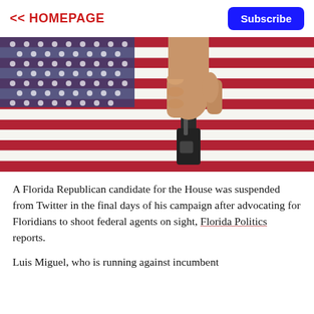<< HOMEPAGE
Subscribe
[Figure (photo): A hand holding a black handgun against a blurred American flag background with red, white and blue stripes and stars.]
A Florida Republican candidate for the House was suspended from Twitter in the final days of his campaign after advocating for Floridians to shoot federal agents on sight, Florida Politics reports.
Luis Miguel, who is running against incumbent